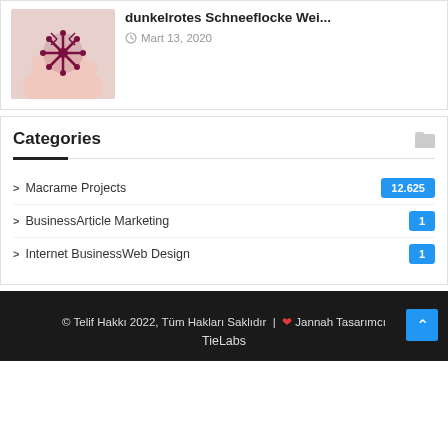[Figure (photo): Hand holding a dark red/maroon crocheted snowflake ornament]
dunkelrotes Schneeflocke Wei...
Mart 13, 2020
Categories
Macrame Projects  12.625
BusinessArticle Marketing  1
Internet BusinessWeb Design  1
© Telif Hakkı 2022, Tüm Hakları Saklıdır  |  ❤ Jannah Tasarımcı
TieLabs